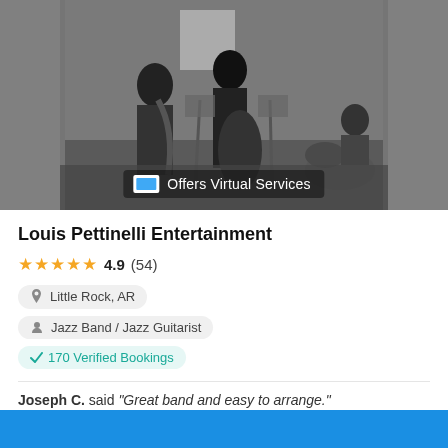[Figure (photo): Black and white photo of a jazz band performing indoors, with musicians playing saxophone, upright bass, and drums. A 'Offers Virtual Services' badge is overlaid at the bottom center of the image.]
Louis Pettinelli Entertainment
★★★★★ 4.9 (54)
Little Rock, AR
Jazz Band / Jazz Guitarist
✓ 170 Verified Bookings
Joseph C. said "Great band and easy to arrange."